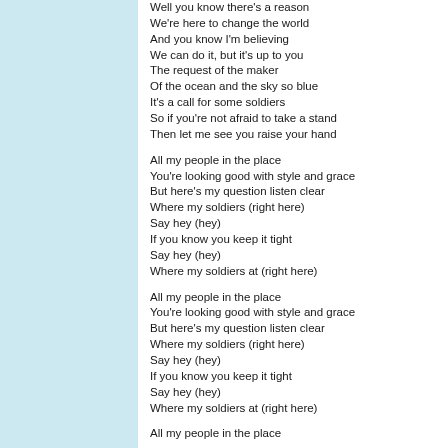Well you know there's a reason
We're here to change the world
And you know I'm believing
We can do it, but it's up to you
The request of the maker
Of the ocean and the sky so blue
It's a call for some soldiers
So if you're not afraid to take a stand
Then let me see you raise your hand

All my people in the place
You're looking good with style and grace
But here's my question listen clear
Where my soldiers (right here)
Say hey (hey)
If you know you keep it tight
Say hey (hey)
Where my soldiers at (right here)

All my people in the place
You're looking good with style and grace
But here's my question listen clear
Where my soldiers (right here)
Say hey (hey)
If you know you keep it tight
Say hey (hey)
Where my soldiers at (right here)

All my people in the place